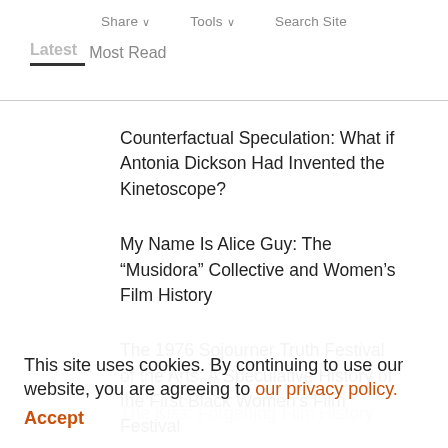Share ∨   Tools ∨   Search Site
Latest   Most Read
Counterfactual Speculation: What if Antonia Dickson Had Invented the Kinetoscope?
My Name Is Alice Guy: The “Musidora” Collective and Women’s Film History
The 1976 Sojourner Truth Festival of the Arts: A Speculative History of the First Black Women’s Film Festival
The File on Theresa Harris, Black Star of the Archive
The Kiss: Forgetting Film History
This site uses cookies. By continuing to use our website, you are agreeing to our privacy policy. Accept